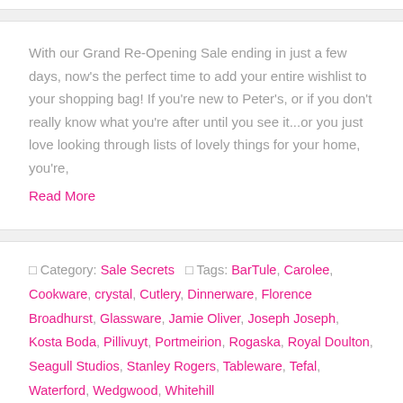With our Grand Re-Opening Sale ending in just a few days, now's the perfect time to add your entire wishlist to your shopping bag! If you're new to Peter's, or if you don't really know what you're after until you see it...or you just love looking through lists of lovely things for your home, you're,
Read More
□ Category: Sale Secrets   □ Tags: BarTule, Carolee, Cookware, crystal, Cutlery, Dinnerware, Florence Broadhurst, Glassware, Jamie Oliver, Joseph Joseph, Kosta Boda, Pillivuyt, Portmeirion, Rogaska, Royal Doulton, Seagull Studios, Stanley Rogers, Tableware, Tefal, Waterford, Wedgwood, Whitehill